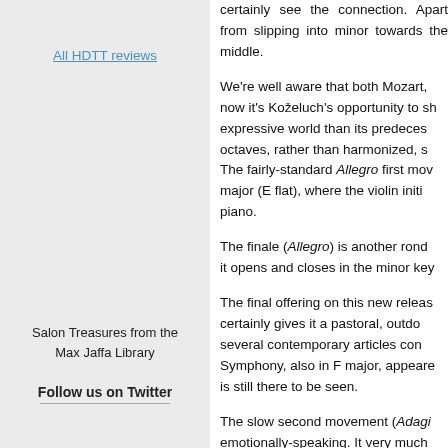All HDTT reviews
Salon Treasures from the Max Jaffa Library
Follow us on Twitter
certainly see the connection. Apart from slipping into minor towards the middle.
We're well aware that both Mozart, now it's Koželuch's opportunity to show a more expressive world than its predecessors. octaves, rather than harmonized, s The fairly-standard Allegro first mov major (E flat), where the violin initi piano.
The finale (Allegro) is another rond it opens and closes in the minor key
The final offering on this new releas certainly gives it a pastoral, outdo several contemporary articles con Symphony, also in F major, appeare is still there to be seen.
The slow second movement (Adagi emotionally-speaking. It very much jovial and unrestrained mood of th round the trio off in high spirits. Aft sees Koželuch once more flexing hi the distance at the close. 'Light mus
If you've yet to hear Trio 1790 pl virtuosity of the keyboard part is on and stylistic empathy, on a fine-sou